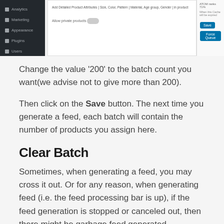[Figure (screenshot): Screenshot of a WordPress admin interface showing product settings with a sidebar navigation (Analytics, Marketing, Appearance, Plugins, Users), main content area with product attribute fields and toggle for 'Allow private products', and a right panel with Save and Force Queue buttons.]
Change the value '200' to the batch count you want(we advise not to give more than 200).
Then click on the Save button. The next time you generate a feed, each batch will contain the number of products you assign here.
Clear Batch
Sometimes, when generating a feed, you may cross it out. Or for any reason, when generating feed (i.e. the feed processing bar is up), if the feed generation is stopped or canceled out, then there might be garbage feed generated.